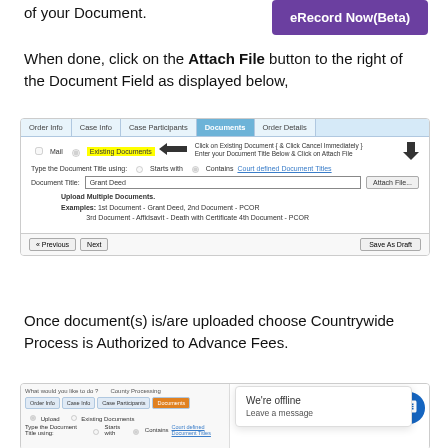of your Document.
[Figure (screenshot): Purple eRecord Now(Beta) button]
When done, click on the Attach File button to the right of the Document Field as displayed below,
[Figure (screenshot): Screenshot of document filing interface showing tabs (Order Info, Case Info, Case Participants, Documents, Order Details), radio buttons for Mail and Existing Documents with yellow highlight on Existing Documents, an arrow pointing left to the label, annotation text 'Click on Existing Document { & Click Cancel Immediately } Enter your Document Title Below & Click on Attach File', a down arrow pointing to the Attach File button, Document Title field with 'Grant Deed' entered, Upload Multiple Documents section with examples, and Previous/Next/Save As Draft buttons.]
Once document(s) is/are uploaded choose Countrywide Process is Authorized to Advance Fees.
[Figure (screenshot): Partial screenshot of document filing interface with a 'We're offline - Leave a message' chat bubble overlay and a blue chat icon button in the bottom right.]